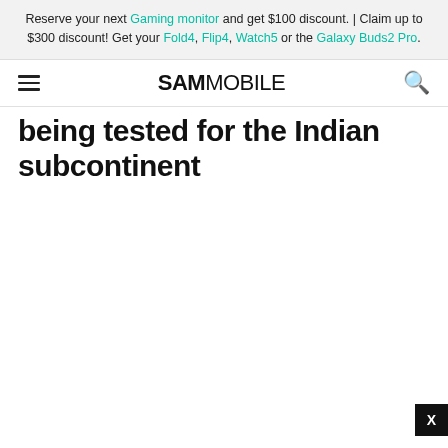Reserve your next Gaming monitor and get $100 discount. | Claim up to $300 discount! Get your Fold4, Flip4, Watch5 or the Galaxy Buds2 Pro.
SAMMOBILE
being tested for the Indian subcontinent